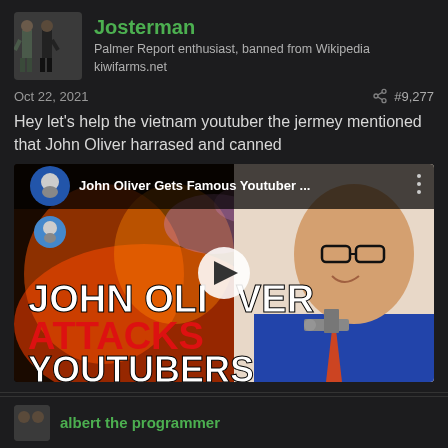Josterman
Palmer Report enthusiast, banned from Wikipedia
kiwifarms.net
Oct 22, 2021   #9,277
Hey let's help the vietnam youtuber the jermey mentioned that John Oliver harrased and canned
[Figure (screenshot): YouTube video thumbnail showing 'John Oliver Gets Famous Youtuber ...' with text 'JOHN OLIVER ATTACKS YOUTUBERS' and a play button overlay]
albert the programmer